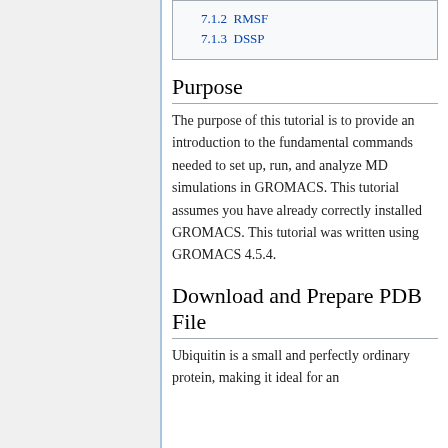7.1.2 RMSF
7.1.3 DSSP
Purpose
The purpose of this tutorial is to provide an introduction to the fundamental commands needed to set up, run, and analyze MD simulations in GROMACS. This tutorial assumes you have already correctly installed GROMACS. This tutorial was written using GROMACS 4.5.4.
Download and Prepare PDB File
Ubiquitin is a small and perfectly ordinary protein, making it ideal for an